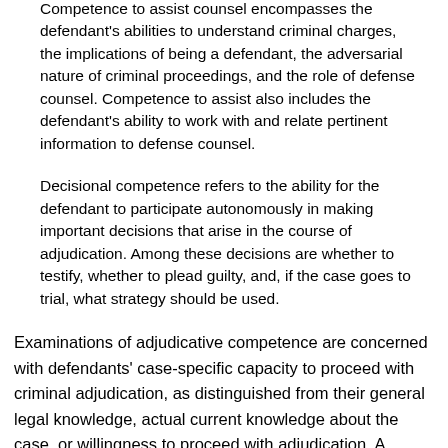Competence to assist counsel encompasses the defendant's abilities to understand criminal charges, the implications of being a defendant, the adversarial nature of criminal proceedings, and the role of defense counsel. Competence to assist also includes the defendant's ability to work with and relate pertinent information to defense counsel.
Decisional competence refers to the ability for the defendant to participate autonomously in making important decisions that arise in the course of adjudication. Among these decisions are whether to testify, whether to plead guilty, and, if the case goes to trial, what strategy should be used.
Examinations of adjudicative competence are concerned with defendants' case-specific capacity to proceed with criminal adjudication, as distinguished from their general legal knowledge, actual current knowledge about the case, or willingness to proceed with adjudication. A defendant's ignorance of some aspects of how the legal system works, the charges faced, or possible penalties does not necessarily imply incompetence. The defendant may simply not have been provided this information, but may be able to